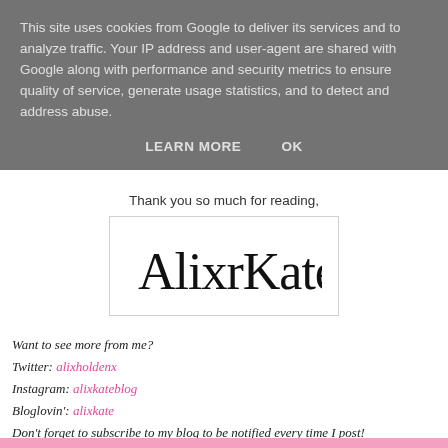This site uses cookies from Google to deliver its services and to analyze traffic. Your IP address and user-agent are shared with Google along with performance and security metrics to ensure quality of service, generate usage statistics, and to detect and address abuse.
LEARN MORE    OK
Thank you so much for reading,
[Figure (illustration): Handwritten cursive signature reading 'AlixrKate' in black ink on white background with light border]
Want to see more from me?
Twitter: alixholdenx
Instagram: alixkateblog
Bloglovin': alixkate
Don't forget to subscribe to my blog to be notified every time I post!